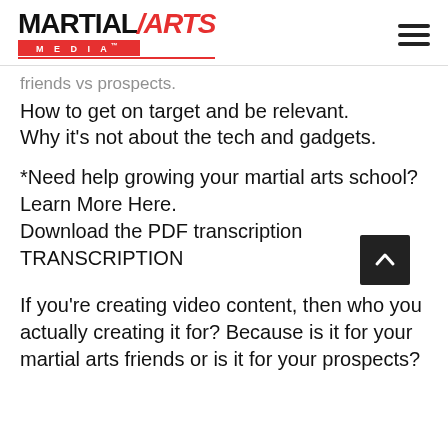[Figure (logo): Martial Arts Media logo with red MEDIA bar and hamburger menu icon]
friends vs prospects.
How to get on target and be relevant.
Why it's not about the tech and gadgets.
*Need help growing your martial arts school? Learn More Here.
Download the PDF transcription
TRANSCRIPTION
If you're creating video content, then who you actually creating it for? Because is it for your martial arts friends or is it for your prospects?